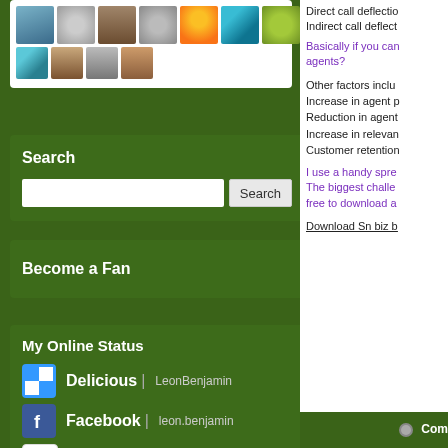[Figure (screenshot): Grid of user avatar thumbnails in a white card]
Search
[Figure (screenshot): Search input field with Search button]
Become a Fan
My Online Status
Delicious | LeonBenjamin
Facebook | leon.benjamin
Flickr | ixtlan
Direct call deflectio...
Indirect call deflect...
Basically if you can... agents?
Other factors inclu...
Increase in agent p...
Reduction in agent...
Increase in relevan...
Customer retention...
I use a handy spre... The biggest challe... free to download a...
Download Sn biz b...
7 Jan 2011 19:06:14
Future of Brands
Com...